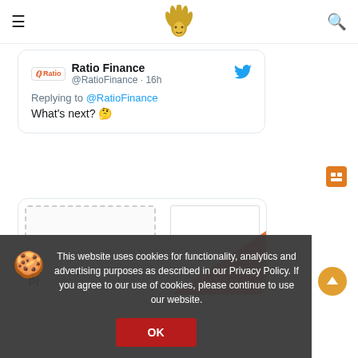Ratio Finance — navigation header with hamburger menu and search icon
[Figure (screenshot): Tweet card from @RatioFinance replying to @RatioFinance saying 'What's next? 🤔' with Twitter bird icon, posted 16h ago]
[Figure (screenshot): Partial tweet card showing an orange triangle graphic on white background]
This website uses cookies for functionality, analytics and advertising purposes as described in our Privacy Policy. If you agree to our use of cookies, please continue to use our website.
OK